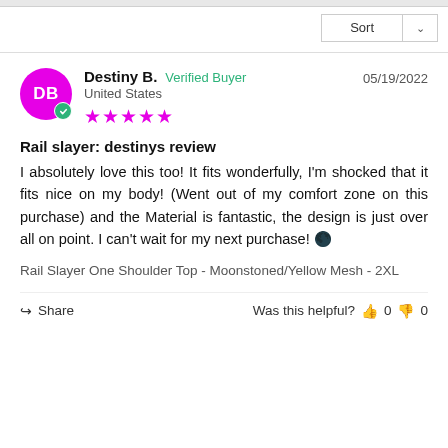Sort
Destiny B.  Verified Buyer  United States  05/19/2022  ★★★★★
Rail slayer: destinys review
I absolutely love this too! It fits wonderfully, I'm shocked that it fits nice on my body! (Went out of my comfort zone on this purchase) and the Material is fantastic, the design is just over all on point. I can't wait for my next purchase! 🌑
Rail Slayer One Shoulder Top - Moonstoned/Yellow Mesh - 2XL
Share  Was this helpful?  👍 0  👎 0